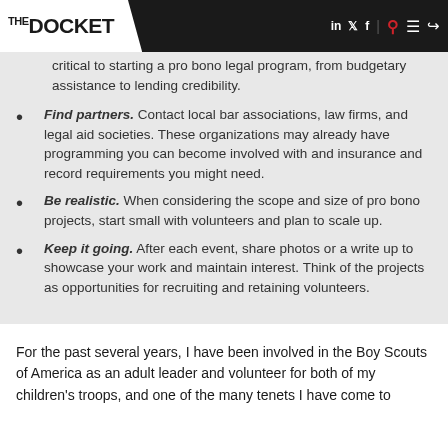THE DOCKET
critical to starting a pro bono legal program, from budgetary assistance to lending credibility.
Find partners. Contact local bar associations, law firms, and legal aid societies. These organizations may already have programming you can become involved with and insurance and record requirements you might need.
Be realistic. When considering the scope and size of pro bono projects, start small with volunteers and plan to scale up.
Keep it going. After each event, share photos or a write up to showcase your work and maintain interest. Think of the projects as opportunities for recruiting and retaining volunteers.
For the past several years, I have been involved in the Boy Scouts of America as an adult leader and volunteer for both of my children's troops, and one of the many tenets I have come to